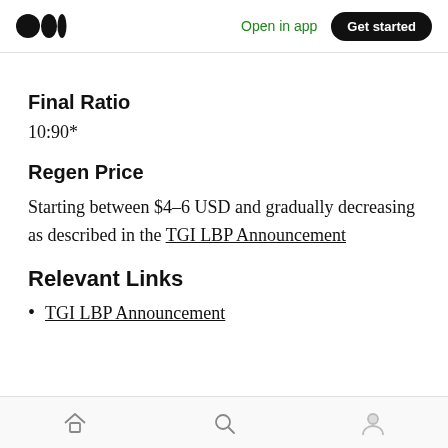Open in app  Get started
Final Ratio
10:90*
Regen Price
Starting between $4–6 USD and gradually decreasing as described in the TGI LBP Announcement
Relevant Links
TGI LBP Announcement
Home  Search  Profile